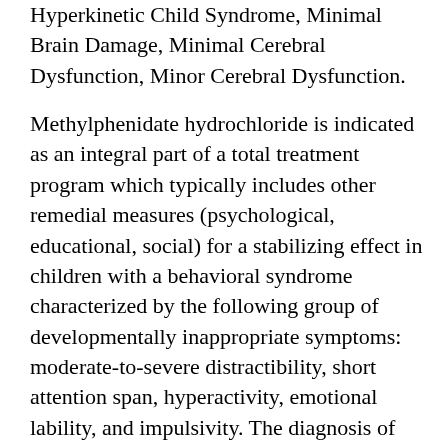Hyperkinetic Child Syndrome, Minimal Brain Damage, Minimal Cerebral Dysfunction, Minor Cerebral Dysfunction.
Methylphenidate hydrochloride is indicated as an integral part of a total treatment program which typically includes other remedial measures (psychological, educational, social) for a stabilizing effect in children with a behavioral syndrome characterized by the following group of developmentally inappropriate symptoms: moderate-to-severe distractibility, short attention span, hyperactivity, emotional lability, and impulsivity. The diagnosis of this syndrome should not be made with finality when these symptoms are only of comparatively recent origin.